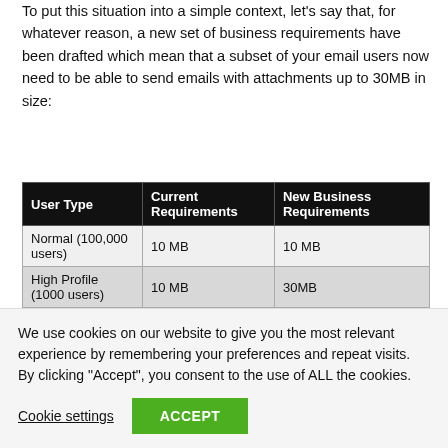To put this situation into a simple context, let's say that, for whatever reason, a new set of business requirements have been drafted which mean that a subset of your email users now need to be able to send emails with attachments up to 30MB in size:
| User Type | Current Requirements | New Business Requirements |
| --- | --- | --- |
| Normal (100,000 users) | 10 MB | 10 MB |
| High Profile (1000 users) | 10 MB | 30MB |
Bearing in mind that we need to have minimal disruption for both sets of users, we can achieve this in one of two ways; you just need to decide which solution will best fit with your organization. I'll guide you, step by
We use cookies on our website to give you the most relevant experience by remembering your preferences and repeat visits. By clicking "Accept", you consent to the use of ALL the cookies.
Cookie settings   ACCEPT